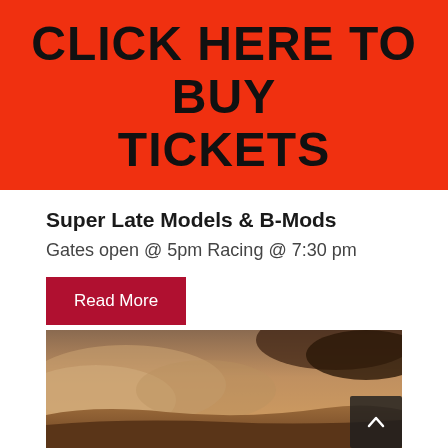[Figure (other): Red banner with large bold black text: CLICK HERE TO BUY TICKETS]
Super Late Models & B-Mods
Gates open @ 5pm Racing @ 7:30 pm
Read More
[Figure (photo): Dusty racing track photo showing dirt and dust clouds]